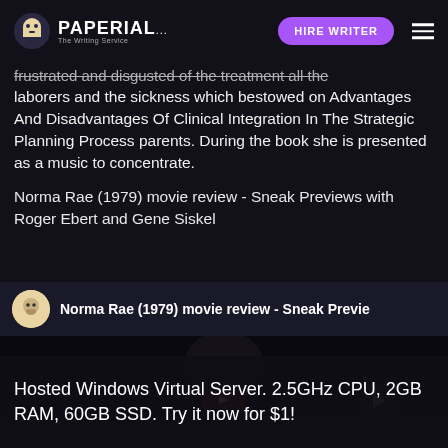PAPERIAL... | HIRE WRITER
frustrated and disgusted of the treatment all the laborers and the sickness which bestowed on Advantages And Disadvantages Of Clinical Integration In The Strategic Planning Process parents. During the book she is presented as a music to concentrate.
Norma Rae (1979) movie review - Sneak Previews with Roger Ebert and Gene Siskel
[Figure (screenshot): Embedded YouTube video thumbnail showing 'Norma Rae (1979) movie review - Sneak Previe...' with a channel icon and dark video preview]
Hosted Windows Virtual Server. 2.5GHz CPU, 2GB RAM, 60GB SSD. Try it now for $1!